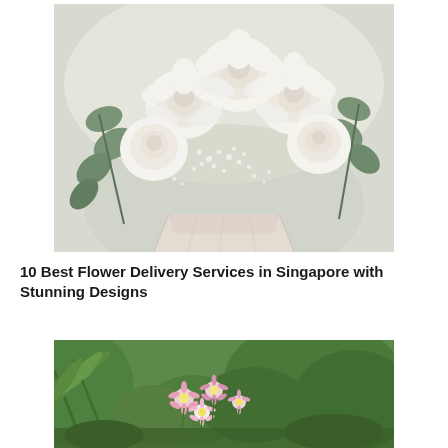[Figure (photo): Close-up photo of a bouquet of white roses with baby's breath and eucalyptus leaves arranged in a geometric vase, on a light background.]
10 Best Flower Delivery Services in Singapore with Stunning Designs
[Figure (photo): Photo of a garden or outdoor scene with pink and white daisy-like flowers in bloom, surrounded by lush green tropical palm leaves and shrubs.]